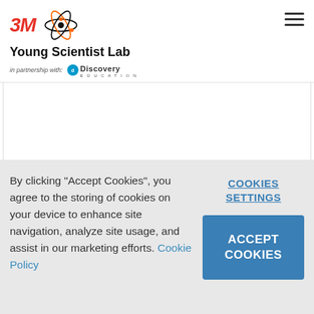[Figure (logo): 3M Young Scientist Lab logo with atom graphic and Discovery Education partnership]
By clicking "Accept Cookies", you agree to the storing of cookies on your device to enhance site navigation, analyze site usage, and assist in our marketing efforts. Cookie Policy
COOKIES SETTINGS
ACCEPT COOKIES